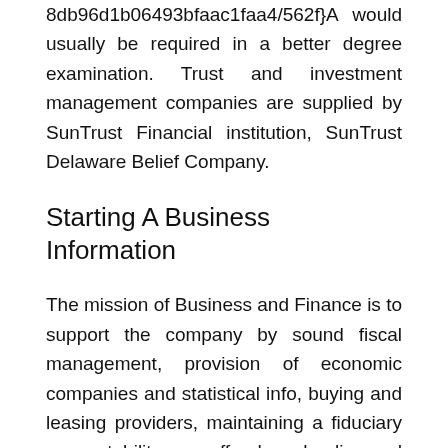8db96d1b06493bfaac1faa4/562f}A would usually be required in a better degree examination. Trust and investment management companies are supplied by SunTrust Financial institution, SunTrust Delaware Belief Company.
Starting A Business Information
The mission of Business and Finance is to support the company by sound fiscal management, provision of economic companies and statistical info, buying and leasing providers, maintaining a fiduciary accountability over offender schooling and recreation funds, and guaranteeing fiscal responsibility by way of compliance with legal guidelines and court-mandated requirements. By specializing in the economy's capital markets, the issues of allocating capital within the